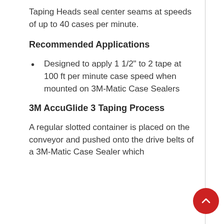Taping Heads seal center seams at speeds of up to 40 cases per minute.
Recommended Applications
Designed to apply 1 1/2" to 2 tape at 100 ft per minute case speed when mounted on 3M-Matic Case Sealers
3M AccuGlide 3 Taping Process
A regular slotted container is placed on the conveyor and pushed onto the drive belts of a 3M-Matic Case Sealer which